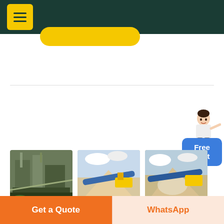Navigation header with menu button
[Figure (screenshot): Three industrial mining/crushing machine images side by side]
Millet Cleaning Machine-China Millet Cleaning .
Deze pagina vertalen
Get a Quote
WhatsApp